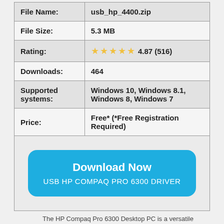|  |  |
| --- | --- |
| File Name: | usb_hp_4400.zip |
| File Size: | 5.3 MB |
| Rating: | ★★★★★ 4.87 (516) |
| Downloads: | 464 |
| Supported systems: | Windows 10, Windows 8.1, Windows 8, Windows 7 |
| Price: | Free* (*Free Registration Required) |
| [Download Now USB HP COMPAQ PRO 6300 DRIVER button] |  |
The HP Compaq Pro 6300 Desktop PC is a versatile